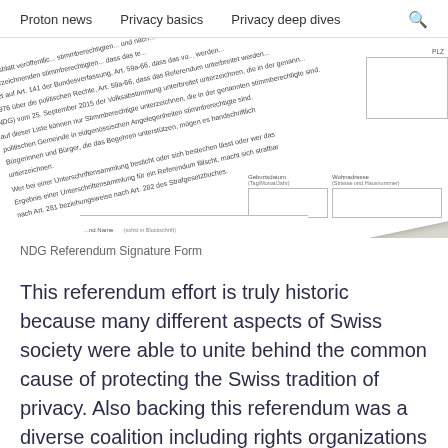Proton news   Privacy basics   Privacy deep dives
[Figure (photo): Angled view of a Swiss NDG Referendum Signature Form with German text about voting rights and signature collection, including form fields for date of birth and address]
NDG Referendum Signature Form
This referendum effort is truly historic because many different aspects of Swiss society were able to unite behind the common cause of protecting the Swiss tradition of privacy. Also backing this referendum was a diverse coalition including rights organizations such as